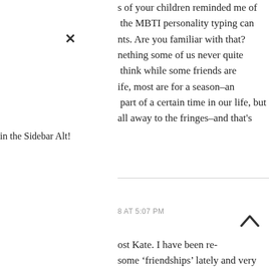× (close button)
in the Sidebar Alt!
s of your children reminded me of the MBTI personality typing can nts. Are you familiar with that? nething some of us never quite think while some friends are ife, most are for a season–an part of a certain time in our life, but all away to the fringes–and that's
8 AT 5:07 PM
ost Kate. I have been re- some 'friendships' lately and very